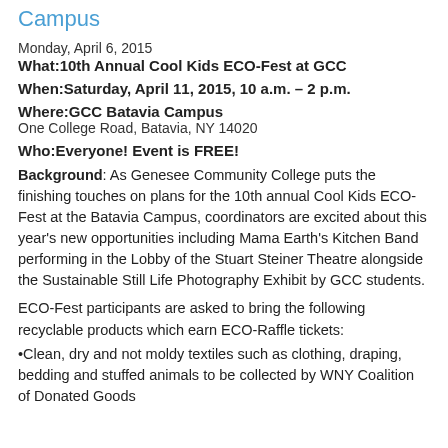Campus
Monday, April 6, 2015
What:10th Annual Cool Kids ECO-Fest at GCC
When:Saturday, April 11, 2015, 10 a.m. – 2 p.m.
Where:GCC Batavia Campus
One College Road, Batavia, NY 14020
Who:Everyone! Event is FREE!
Background: As Genesee Community College puts the finishing touches on plans for the 10th annual Cool Kids ECO-Fest at the Batavia Campus, coordinators are excited about this year's new opportunities including Mama Earth's Kitchen Band performing in the Lobby of the Stuart Steiner Theatre alongside the Sustainable Still Life Photography Exhibit by GCC students.
ECO-Fest participants are asked to bring the following recyclable products which earn ECO-Raffle tickets:
•Clean, dry and not moldy textiles such as clothing, draping, bedding and stuffed animals to be collected by WNY Coalition of Donated Goods